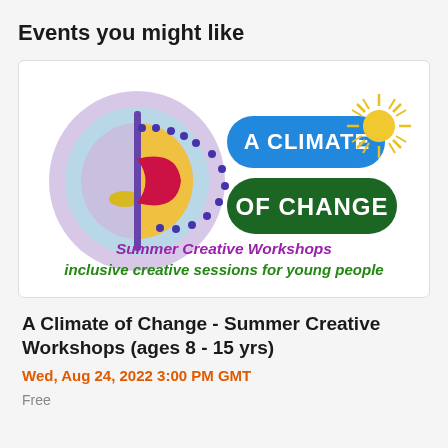Events you might like
[Figure (illustration): A Climate of Change Summer Creative Workshops logo — a circular abstract shape split vertically (purple/lavender on left, yellow/gold on right) with a red curved element at center and dotted purple ring, beside text 'A CLIMATE' in white on a blue rounded rectangle, 'OF CHANGE' in white on a dark green rounded rectangle, and a gold sun radiating lines. Below: 'Summer Creative Workshops' in purple italic and 'inclusive creative sessions for young people' in green italic.]
A Climate of Change - Summer Creative Workshops (ages 8 - 15 yrs)
Wed, Aug 24, 2022 3:00 PM GMT
Free